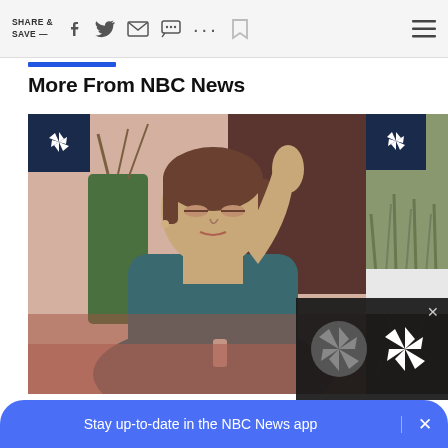SHARE & SAVE —
More From NBC News
[Figure (photo): Woman in teal turtleneck sweater with eyes closed, hand raised, holding a small object — NBC News article image with NBC peacock logo badge]
[Figure (photo): Partial second NBC News article thumbnail showing outdoor/nature scene with snow and grass, with NBC peacock logo badge]
NBC NEWS / SHOP
What you need to know about using a
[Figure (logo): NBC peacock logo popup overlay on dark background with close X button]
Stay up-to-date in the NBC News app